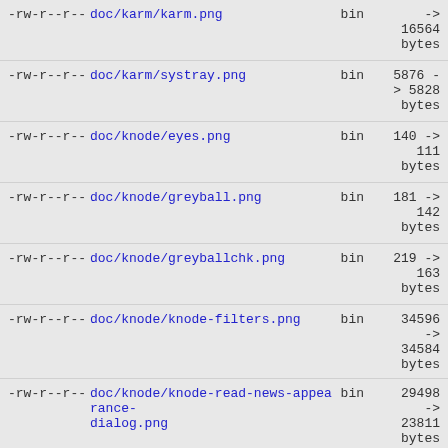-rw-r--r--  doc/karm/karm.png  bin  -> 16564 bytes
-rw-r--r--  doc/karm/systray.png  bin  5876 -> 5828 bytes
-rw-r--r--  doc/knode/eyes.png  bin  140 -> 111 bytes
-rw-r--r--  doc/knode/greyball.png  bin  181 -> 142 bytes
-rw-r--r--  doc/knode/greyballchk.png  bin  219 -> 163 bytes
-rw-r--r--  doc/knode/knode-filters.png  bin  34596 -> 34584 bytes
-rw-r--r--  doc/knode/knode-read-news-appearance-dialog.png  bin  29498 -> 23811 bytes
-rw-r--r--  doc/knode/knode-rule-editor.png  bin  16638 -> 16626 bytes
24388